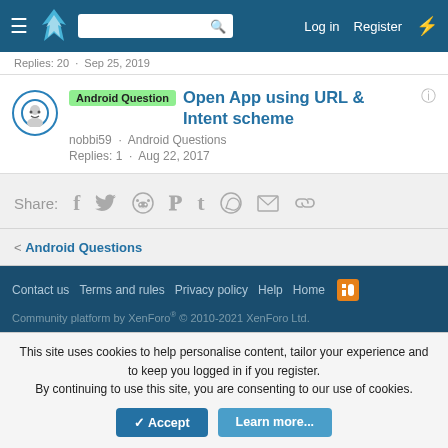Log in  Register
Replies: 20 · Sep 25, 2019
Android Question  Open App using URL & Intent scheme
nobbi59 · Android Questions
Replies: 1 · Aug 22, 2017
Share:
< Android Questions
Contact us  Terms and rules  Privacy policy  Help  Home
Community platform by XenForo® © 2010-2021 XenForo Ltd.
This site uses cookies to help personalise content, tailor your experience and to keep you logged in if you register.
By continuing to use this site, you are consenting to our use of cookies.